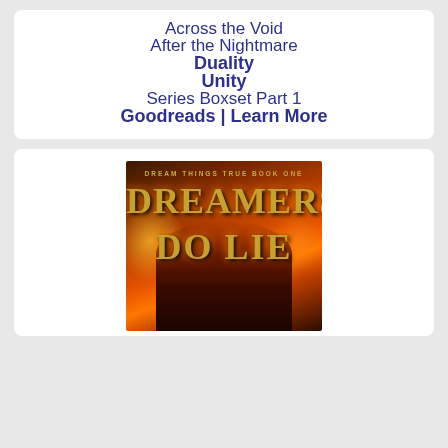Across the Void
After the Nightmare
Duality
Unity
Series Boxset Part 1
Goodreads | Learn More
[Figure (illustration): Book cover for 'Dreamers Do Lie', Dream Things True Book One, featuring a red-haired woman against a fiery orange and dark background with glowing golden title text]